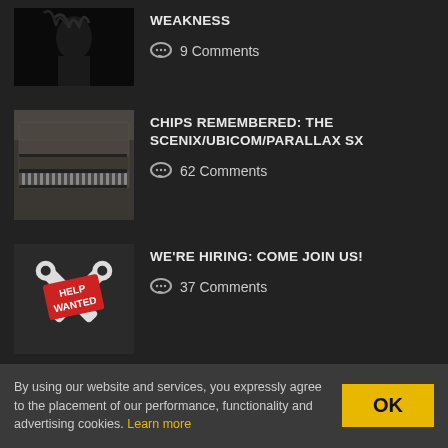WEAKNESS
9 Comments
CHIPS REMEMBERED: THE SCENIX/UBICOM/PARALLAX SX
62 Comments
WE'RE HIRING: COME JOIN US!
37 Comments
More from this category
By using our website and services, you expressly agree to the placement of our performance, functionality and advertising cookies. Learn more